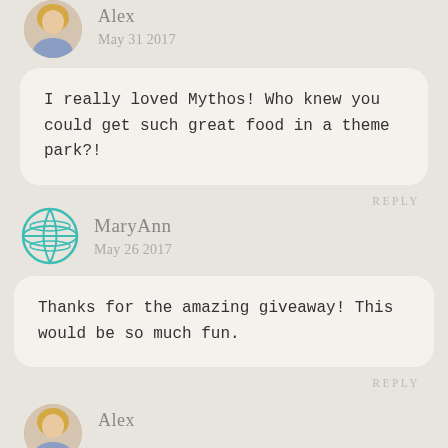[Figure (photo): Circular avatar photo of a blonde woman (Alex), partially cropped at top]
Alex
May 31 2017
I really loved Mythos! Who knew you could get such great food in a theme park?!
REPLY
[Figure (illustration): Teal globe/world icon in circle]
MaryAnn
May 26 2017
Thanks for the amazing giveaway! This would be so much fun.
REPLY
[Figure (photo): Circular avatar photo of a blonde woman (Alex), partially cropped at bottom]
Alex